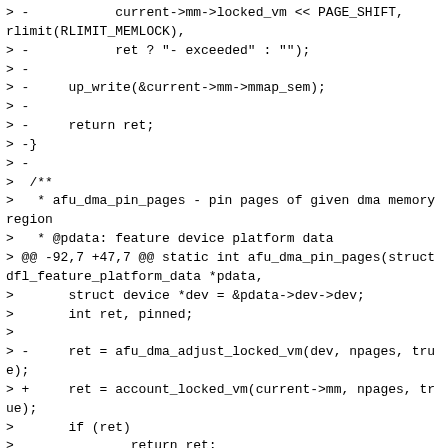> -           current->mm->locked_vm << PAGE_SHIFT,
rlimit(RLIMIT_MEMLOCK),
> -           ret ? "- exceeded" : "");
> -
> -     up_write(&current->mm->mmap_sem);
> -
> -     return ret;
> -}
> -
>  /**
>   * afu_dma_pin_pages - pin pages of given dma memory region
>   * @pdata: feature device platform data
> @@ -92,7 +47,7 @@ static int afu_dma_pin_pages(struct dfl_feature_platform_data *pdata,
>       struct device *dev = &pdata->dev->dev;
>       int ret, pinned;
>
> -     ret = afu_dma_adjust_locked_vm(dev, npages, true);
> +     ret = account_locked_vm(current->mm, npages, true);
>       if (ret)
>               return ret;
>
> @@ -121,7 +76,7 @@ static int afu_dma_pin_pages(struct dfl_feature_platform_data *pdata,
>  free_pages:
>       kfree(region->pages);